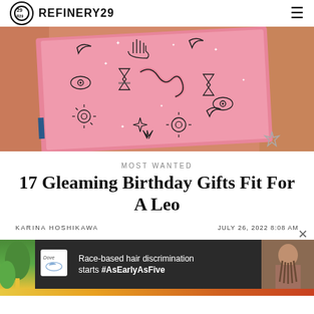REFINERY29
[Figure (photo): Pink notebook/journal with mystical illustrations (moons, eyes, sun, snake, hourglass, hand) surrounded by orange/terracotta colored books on a wooden surface]
MOST WANTED
17 Gleaming Birthday Gifts Fit For A Leo
KARINA HOSHIKAWA    JULY 26, 2022 8:08 AM
[Figure (screenshot): Dove advertisement banner with text: Race-based hair discrimination starts #AsEarlyAsFive, showing a woman with braided hair on the right side]